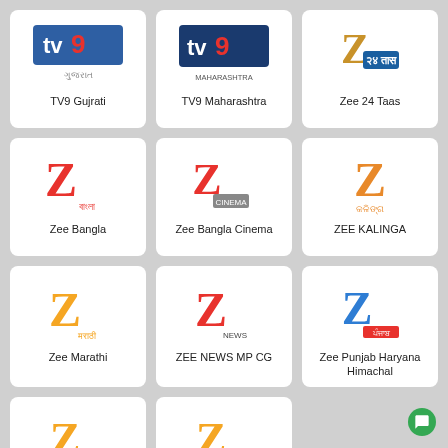[Figure (logo): TV9 Gujrati channel logo]
TV9 Gujrati
[Figure (logo): TV9 Maharashtra channel logo]
TV9 Maharashtra
[Figure (logo): Zee 24 Taas channel logo]
Zee 24 Taas
[Figure (logo): Zee Bangla channel logo]
Zee Bangla
[Figure (logo): Zee Bangla Cinema channel logo]
Zee Bangla Cinema
[Figure (logo): ZEE KALINGA channel logo]
ZEE KALINGA
[Figure (logo): Zee Marathi channel logo]
Zee Marathi
[Figure (logo): ZEE NEWS MP CG channel logo]
ZEE NEWS MP CG
[Figure (logo): Zee Punjab Haryana Himachal channel logo]
Zee Punjab Haryana Himachal
[Figure (logo): Zee Rajasthan News channel logo]
Zee Rajasthan News
[Figure (logo): Zee Talkies channel logo]
Zee Talkies